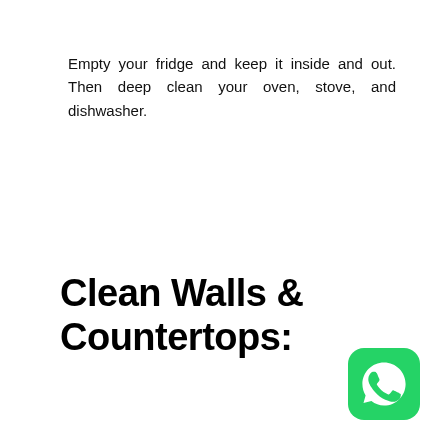Empty your fridge and keep it inside and out. Then deep clean your oven, stove, and dishwasher.
Clean Walls & Countertops:
[Figure (logo): WhatsApp logo icon — green rounded square with white phone handset speech bubble]